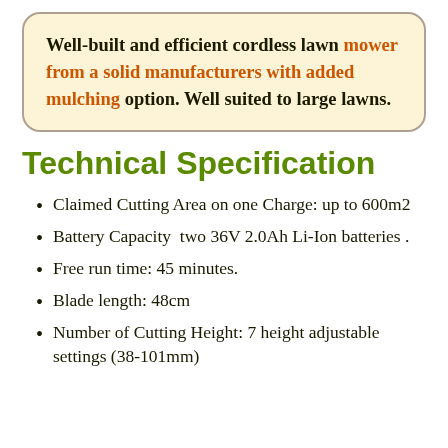Well-built and efficient cordless lawn mower from a solid manufacturers with added mulching option. Well suited to large lawns.
Technical Specification
Claimed Cutting Area on one Charge: up to 600m2
Battery Capacity  two 36V 2.0Ah Li-Ion batteries .
Free run time: 45 minutes.
Blade length: 48cm
Number of Cutting Height: 7 height adjustable settings (38-101mm)